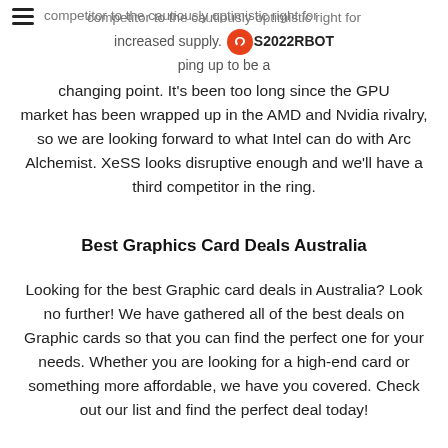≡ [logo] S2022RBOT
competitor to the cautiously optimistic right for increased supply. 2022 is shaping up to be a changing point. It's been too long since the GPU market has been wrapped up in the AMD and Nvidia rivalry, so we are looking forward to what Intel can do with Arc Alchemist. XeSS looks disruptive enough and we'll have a third competitor in the ring.
Best Graphics Card Deals Australia
Looking for the best Graphic card deals in Australia? Look no further! We have gathered all of the best deals on Graphic cards so that you can find the perfect one for your needs. Whether you are looking for a high-end card or something more affordable, we have you covered. Check out our list and find the perfect deal today!